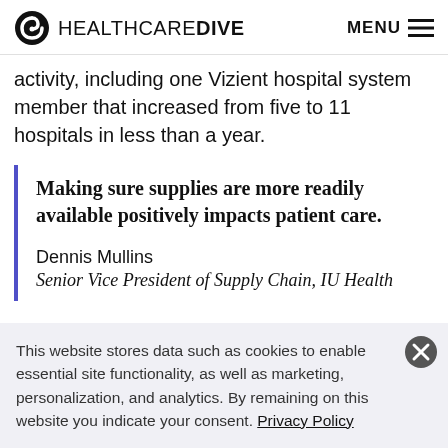HEALTHCAREDIVE  MENU
activity, including one Vizient hospital system member that increased from five to 11 hospitals in less than a year.
Making sure supplies are more readily available positively impacts patient care.

Dennis Mullins
Senior Vice President of Supply Chain, IU Health
This website stores data such as cookies to enable essential site functionality, as well as marketing, personalization, and analytics. By remaining on this website you indicate your consent. Privacy Policy